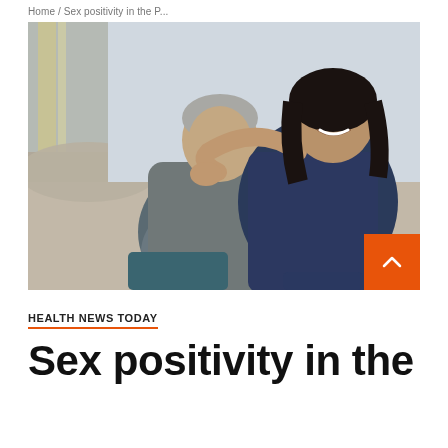Home / Sex positivity in the...
[Figure (photo): A smiling couple sitting on a couch, embracing each other. A woman leans over a man's shoulder from behind, both appear happy and laughing.]
HEALTH NEWS TODAY
Sex positivity in the